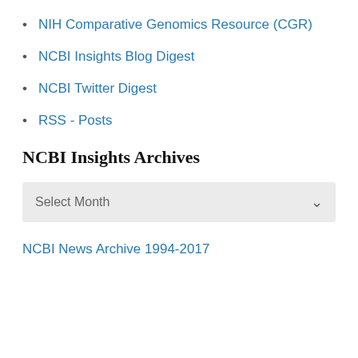NIH Comparative Genomics Resource (CGR)
NCBI Insights Blog Digest
NCBI Twitter Digest
RSS - Posts
NCBI Insights Archives
Select Month
NCBI News Archive 1994-2017